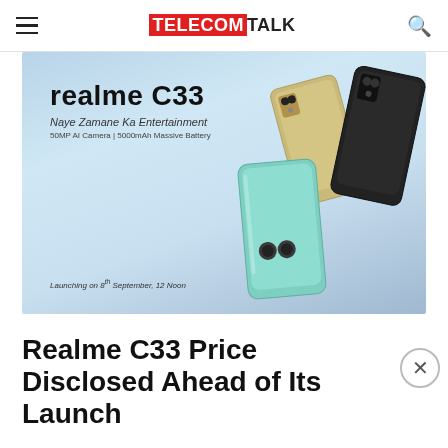TELECOMTALK
[Figure (photo): Realme C33 promotional banner showing three phones in mint green, gold, and black colors on a light blue background. Text reads: realme C33, Naye Zamane Ka Entertainment, 50MP AI Camera | 5000mAh Massive Battery, Launching on 8th September, 12 Noon]
Realme C33 Price Disclosed Ahead of Its Launch